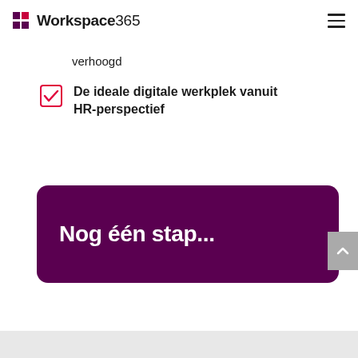Workspace365
verhoogd
De ideale digitale werkplek vanuit HR-perspectief
Nog één stap...